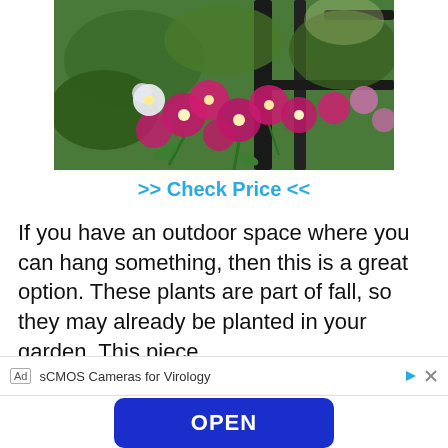[Figure (photo): Photo of pink and white petunias and other flowering plants growing through/near a dark metal fence or railing, with green foliage in the background.]
>> Check Price <<
If you have an outdoor space where you can hang something, then this is a great option. These plants are part of fall, so they may already be planted in your garden. This piece
Ad  sCMOS Cameras for Virology
OPEN